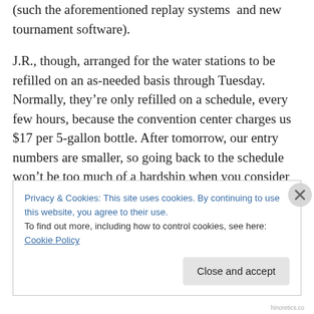(such the aforementioned replay systems  and new tournament software).
J.R., though, arranged for the water stations to be refilled on an as-needed basis through Tuesday. Normally, they're only refilled on a schedule, every few hours, because the convention center charges us $17 per 5-gallon bottle. After tomorrow, our entry numbers are smaller, so going back to the schedule won't be too much of a hardship when you consider the expense.
Privacy & Cookies: This site uses cookies. By continuing to use this website, you agree to their use.
To find out more, including how to control cookies, see here: Cookie Policy